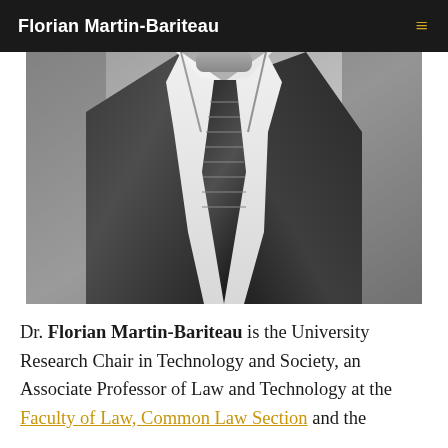Florian Martin-Bariteau
[Figure (photo): Black and white professional headshot/portrait photo of Dr. Florian Martin-Bariteau in a dark suit with striped tie, cropped to show torso and lower face/chin area]
Dr. Florian Martin-Bariteau is the University Research Chair in Technology and Society, an Associate Professor of Law and Technology at the Faculty of Law, Common Law Section and the